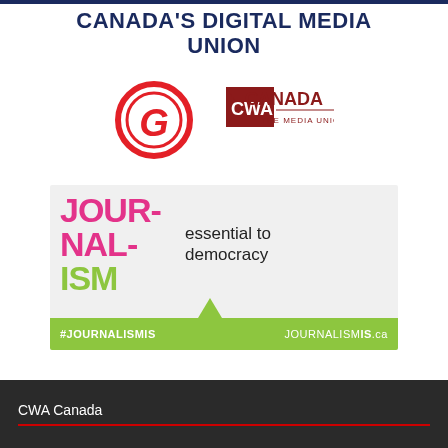CANADA'S DIGITAL MEDIA UNION
[Figure (logo): Globe and Mail stylized G logo in red oval, and CWA Canada - The Media Union logo in dark red]
[Figure (infographic): JOURNALISM IS essential to democracy banner with pink/green lettering, green bar at bottom reading #JOURNALISMIS and JOURNALISMIS.ca]
CWA Canada